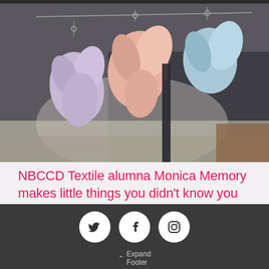[Figure (photo): Colorful ceramic bird or whale-fin shaped ornaments hanging on a rack — pastel purple, pink/salmon, and blue colors against a blurred dark background]
NBCCD Textile alumna Monica Memory makes little things you didn't know you wanted
Expand Footer